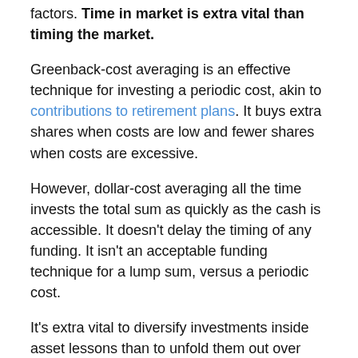factors. Time in market is extra vital than timing the market.
Greenback-cost averaging is an effective technique for investing a periodic cost, akin to contributions to retirement plans. It buys extra shares when costs are low and fewer shares when costs are excessive.
However, dollar-cost averaging all the time invests the total sum as quickly as the cash is accessible. It doesn't delay the timing of any funding. It isn't an acceptable funding technique for a lump sum, versus a periodic cost.
It's extra vital to diversify investments inside asset lessons than to unfold them out over time. In the long run, spreading out a lump sum funding over a couple of months is not going to make a lot of a distinction in long-term returns on funding.